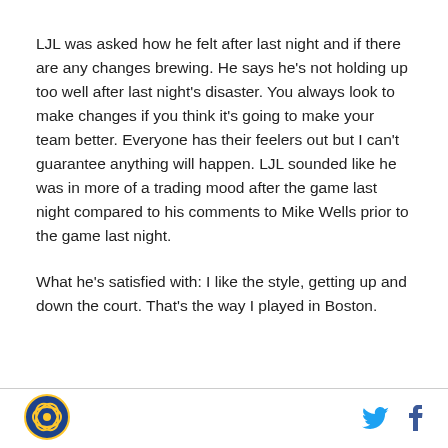LJL was asked how he felt after last night and if there are any changes brewing. He says he's not holding up too well after last night's disaster. You always look to make changes if you think it's going to make your team better. Everyone has their feelers out but I can't guarantee anything will happen. LJL sounded like he was in more of a trading mood after the game last night compared to his comments to Mike Wells prior to the game last night.
What he's satisfied with: I like the style, getting up and down the court. That's the way I played in Boston.
[Figure (logo): Golden State Warriors circular logo with blue and gold design]